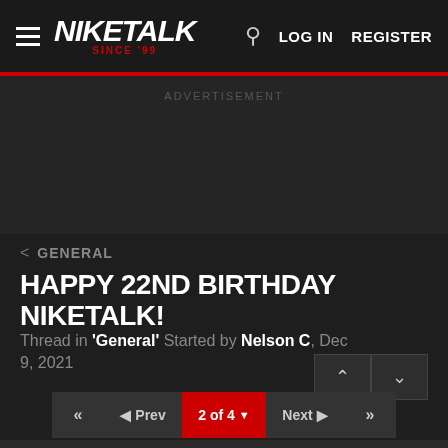NIKETALK SINCE '99 | LOG IN | REGISTER
ADVERTISEMENT
< GENERAL
HAPPY 22ND BIRTHDAY NIKETALK!
Thread in 'General' Started by Nelson C, Dec 9, 2021
2 of 4 | Prev | Next